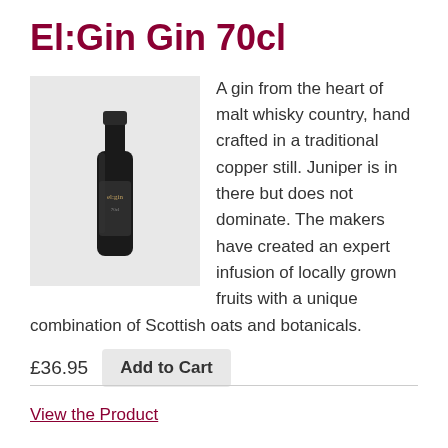El:Gin Gin 70cl
[Figure (photo): Dark bottle of El:Gin Gin 70cl against a light background]
A gin from the heart of malt whisky country, hand crafted in a traditional copper still. Juniper is in there but does not dominate. The makers have created an expert infusion of locally grown fruits with a unique combination of Scottish oats and botanicals.
£36.95  Add to Cart
View the Product